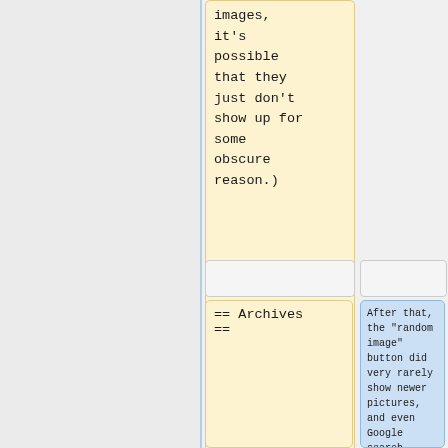images, it's possible that they just don't show up for some obscure reason.)
== Archives ==
After that, the "random image" button did very rarely show newer pictures, and even Google search